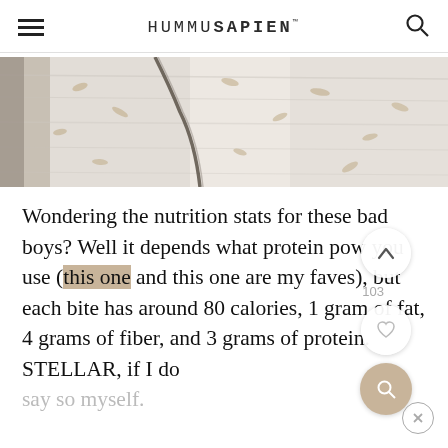HUMMUSAPIEN
[Figure (photo): Close-up photo of what appears to be oats or grain on a light surface with a dark diagonal crack or line]
Wondering the nutrition stats for these bad boys? Well it depends what protein powder you use (this one and this one are my faves), but each bite has around 80 calories, 1 gram of fat, 4 grams of fiber, and 3 grams of protein. STELLAR, if I do say so myself.